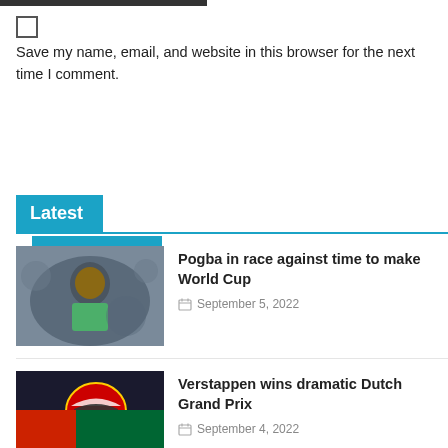Save my name, email, and website in this browser for the next time I comment.
Post Comment
Latest
[Figure (photo): Photo of Paul Pogba in a green training vest, with a blurred stadium background]
Pogba in race against time to make World Cup
September 5, 2022
[Figure (photo): Photo of Max Verstappen in Red Bull Racing helmet celebrating, with Oracle Red Bull branding visible]
Verstappen wins dramatic Dutch Grand Prix
September 4, 2022
[Figure (photo): Partially visible third news article thumbnail at bottom of page]